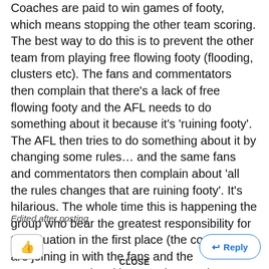Coaches are paid to win games of footy, which means stopping the other team scoring. The best way to do this is to prevent the other team from playing free flowing footy (flooding, clusters etc). The fans and commentators then complain that there's a lack of free flowing footy and the AFL needs to do something about it because it's 'ruining footy'. The AFL then tries to do something about it by changing some rules… and the same fans and commentators then complain about 'all the rules changes that are ruining footy'. It's hilarious. The whole time this is happening the group who bear the greatest responsibility for the situation in the first place (the coaches) are joining in with the fans and the commentators in taking pot shots at the AFL. Clarko was the master of it.
Edited after posting
CLOSE